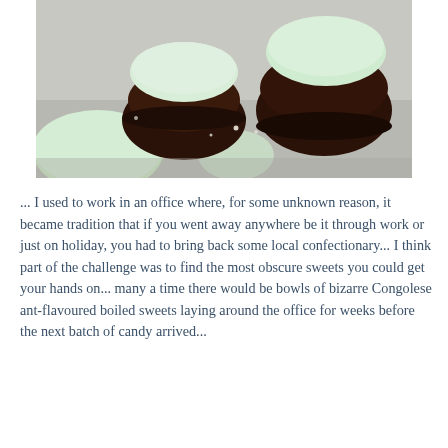[Figure (photo): Close-up photo of chocolate-dipped mint patties/cookies on a light surface. The round confections are pale green/white on top and coated in dark chocolate on the bottom and sides.]
... I used to work in an office where, for some unknown reason, it became tradition that if you went away anywhere be it through work or just on holiday, you had to bring back some local confectionary... I think part of the challenge was to find the most obscure sweets you could get your hands on... many a time there would be bowls of bizarre Congolese ant-flavoured boiled sweets laying around the office for weeks before the next batch of candy arrived...